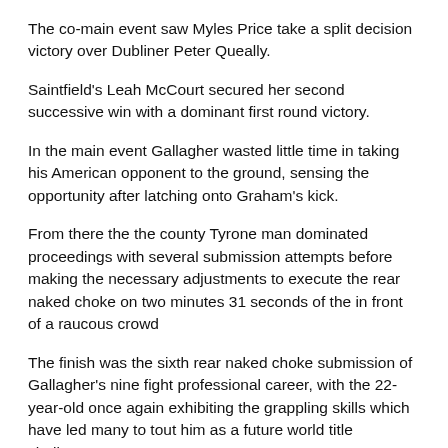The co-main event saw Myles Price take a split decision victory over Dubliner Peter Queally.
Saintfield's Leah McCourt secured her second successive win with a dominant first round victory.
In the main event Gallagher wasted little time in taking his American opponent to the ground, sensing the opportunity after latching onto Graham's kick.
From there the the county Tyrone man dominated proceedings with several submission attempts before making the necessary adjustments to execute the rear naked choke on two minutes 31 seconds of the in front of a raucous crowd
The finish was the sixth rear naked choke submission of Gallagher's nine fight professional career, with the 22-year-old once again exhibiting the grappling skills which have led many to tout him as a future world title challenger.